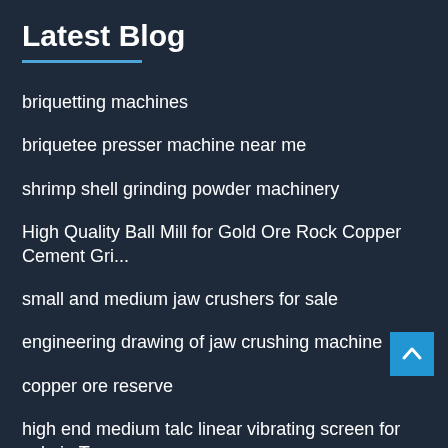Latest Blog
briquetting machines
briquetee presser machine near me
shrimp shell grinding powder machinery
High Quality Ball Mill for Gold Ore Rock Copper Cement Gri...
small and medium jaw crushers for sale
engineering drawing of jaw crushing machine
copper ore reserve
high end medium talc linear vibrating screen for sale in To...
stone crusher rs in jhunjhunu